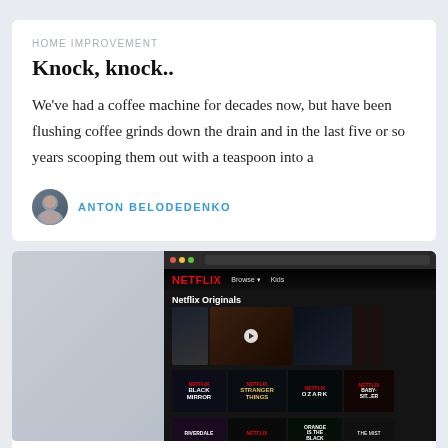HOME IMPROVEMENT
Knock, knock..
We've had a coffee machine for decades now, but have been flushing coffee grinds down the drain and in the last five or so years scooping them out with a teaspoon into a
ANTON BELODEDENKO
[Figure (screenshot): Screenshot of Netflix website showing Netflix Originals row with thumbnails including Black Mirror, Stranger Things, Ozark, and more, displayed on a laptop screen with a grey background on the left side.]
NETFLIX UN-BLOCKER